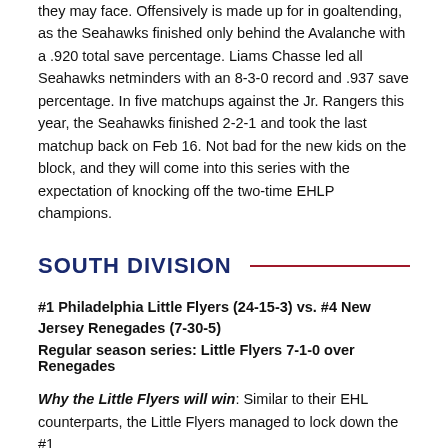they may face. Offensively is made up for in goaltending, as the Seahawks finished only behind the Avalanche with a .920 total save percentage. Liams Chasse led all Seahawks netminders with an 8-3-0 record and .937 save percentage. In five matchups against the Jr. Rangers this year, the Seahawks finished 2-2-1 and took the last matchup back on Feb 16. Not bad for the new kids on the block, and they will come into this series with the expectation of knocking off the two-time EHLP champions.
SOUTH DIVISION
#1 Philadelphia Little Flyers (24-15-3) vs. #4 New Jersey Renegades (7-30-5)
Regular season series: Little Flyers 7-1-0 over Renegades
Why the Little Flyers will win: Similar to their EHL counterparts, the Little Flyers managed to lock down the #1